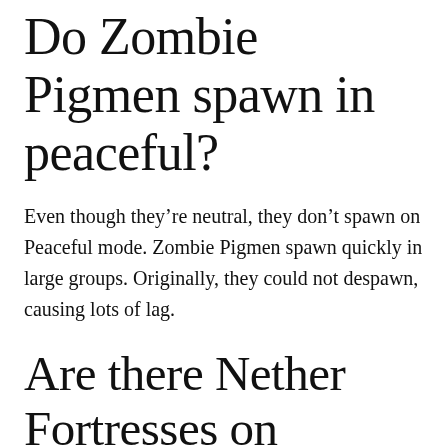Do Zombie Pigmen spawn in peaceful?
Even though they’re neutral, they don’t spawn on Peaceful mode. Zombie Pigmen spawn quickly in large groups. Originally, they could not despawn, causing lots of lag.
Are there Nether Fortresses on peaceful?
Asking for a friend. Difficulty has no effect on the